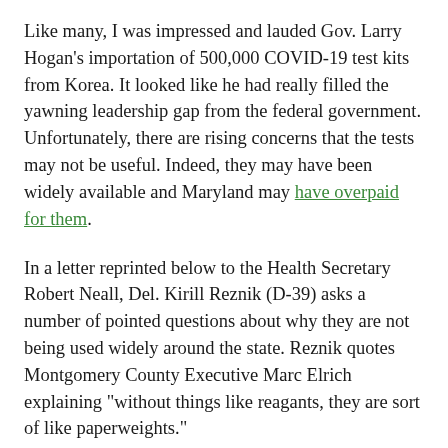Like many, I was impressed and lauded Gov. Larry Hogan's importation of 500,000 COVID-19 test kits from Korea. It looked like he had really filled the yawning leadership gap from the federal government. Unfortunately, there are rising concerns that the tests may not be useful. Indeed, they may have been widely available and Maryland may have overpaid for them.
In a letter reprinted below to the Health Secretary Robert Neall, Del. Kirill Reznik (D-39) asks a number of pointed questions about why they are not being used widely around the state. Reznik quotes Montgomery County Executive Marc Elrich explaining "without things like reagants, they are sort of like paperweights."
Other legislators are similarly concerned. Del. Marc Korman (D-16) said on Twitter, "A great frustration I have heard is that 10 days after the Governor ordered testing at all nursing